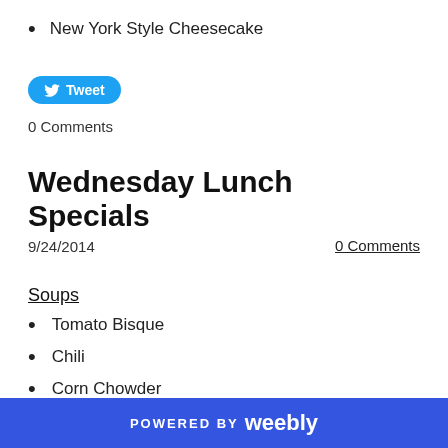New York Style Cheesecake
[Figure (other): Twitter Tweet button (blue rounded button with bird icon and 'Tweet' text)]
0 Comments
Wednesday Lunch Specials
9/24/2014
0 Comments
Soups
Tomato Bisque
Chili
Corn Chowder
Specials
POWERED BY weebly